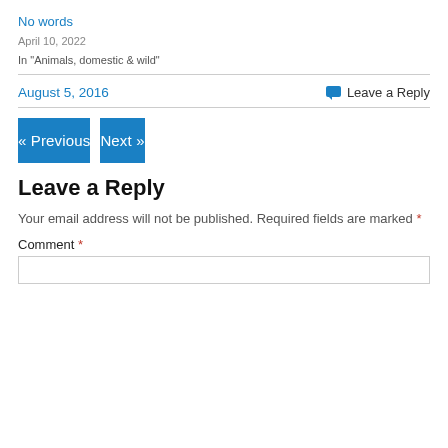No words
April 10, 2022
In "Animals, domestic & wild"
August 5, 2016
Leave a Reply
« Previous
Next »
Leave a Reply
Your email address will not be published. Required fields are marked *
Comment *